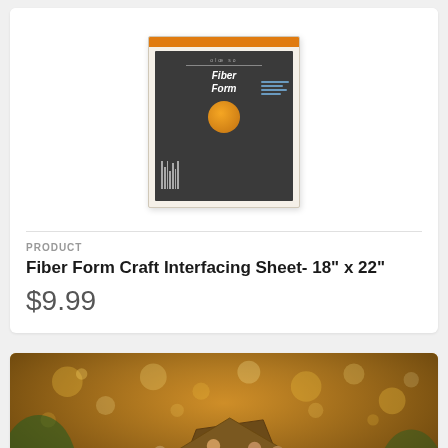[Figure (photo): Product photo of Fiber Form Craft Interfacing Sheet package with dark gray and orange packaging design]
PRODUCT
Fiber Form Craft Interfacing Sheet- 18" x 22"
$9.99
[Figure (photo): Nativity scene ornaments with bokeh lights in warm golden tones in the background]